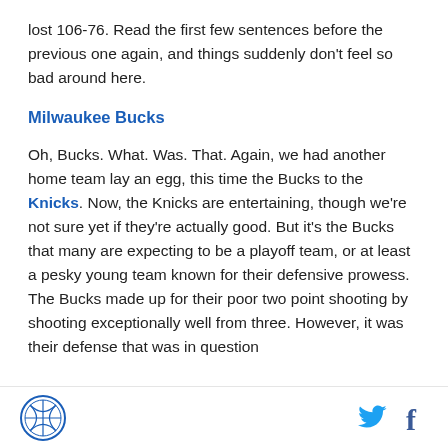lost 106-76. Read the first few sentences before the previous one again, and things suddenly don't feel so bad around here.
Milwaukee Bucks
Oh, Bucks. What. Was. That. Again, we had another home team lay an egg, this time the Bucks to the Knicks. Now, the Knicks are entertaining, though we're not sure yet if they're actually good. But it's the Bucks that many are expecting to be a playoff team, or at least a pesky young team known for their defensive prowess. The Bucks made up for their poor two point shooting by shooting exceptionally well from three. However, it was their defense that was in question
Logo | Twitter | Facebook